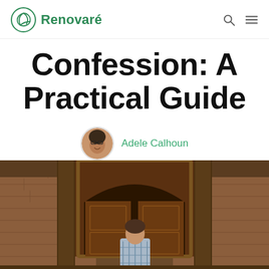Renovaré
Confession: A Practical Guide
Adele Calhoun
[Figure (photo): Person standing in front of large ornate wooden doors set in a brick archway, viewed from behind, wearing a plaid shirt.]